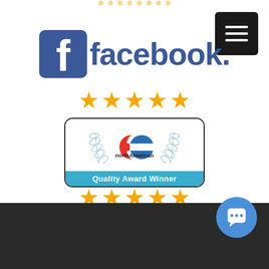[Figure (logo): Facebook logo with blue 'f' icon and 'facebook.' text in blue]
[Figure (illustration): Five gold stars rating row below Facebook logo]
[Figure (logo): northAmerican Quality Award Winner badge with laurel leaves and teal banner]
[Figure (illustration): Five gold stars rating row below northAmerican badge]
[Figure (screenshot): Black hamburger menu button top right corner]
[Figure (illustration): Blue chat bubble button bottom right corner]